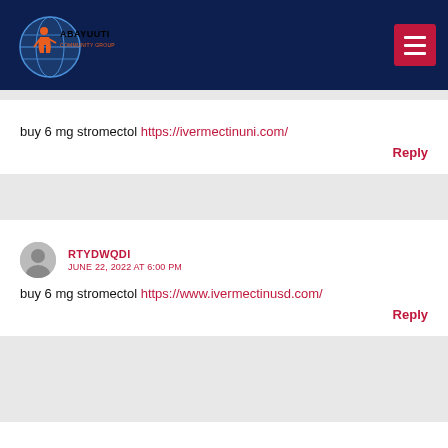Abayuuti Community Group — site header with navigation menu
buy 6 mg stromectol https://ivermectinuni.com/
Reply
RTYDWQDI — JUNE 22, 2022 AT 6:00 PM
buy 6 mg stromectol https://www.ivermectinusd.com/
Reply